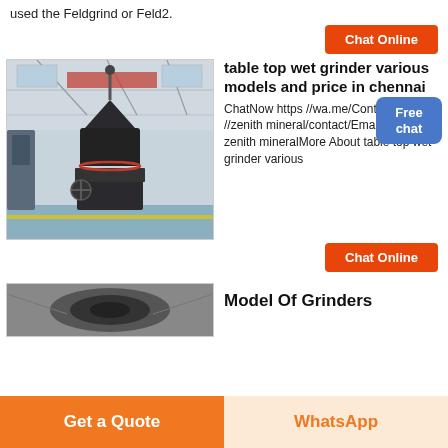used the Feldgrind or Feld2.
Chat Online
[Figure (photo): Industrial vertical mill/grinder machine inside a large warehouse or factory, with metal framework and red accent ring]
table top wet grinder various models and price in chennai
ChatNow https //wa.me/Contact https //zenith mineral/contact/Email contact zenith mineralMore About table top wet grinder various
Free chat
Chat Online
[Figure (photo): Close-up of a grinder component, circular metallic part]
Model Of Grinders
Get a Quote
WhatsApp